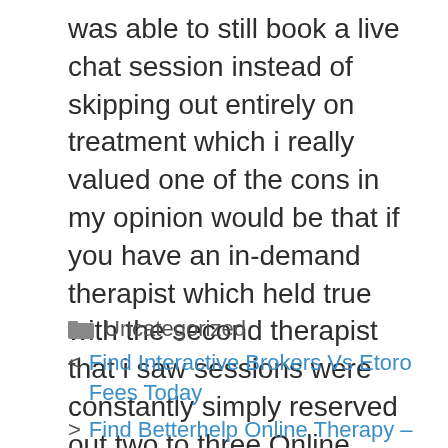was able to still book a live chat session instead of skipping out entirely on treatment which i really valued one of the cons in my opinion would be that if you have an in-demand therapist which held true with the second therapist that i saw sessions were constantly simply reserved out two to three Online Couples Counseling That Accepts Insurance Oregon
Uncategorized
< Find Interactive Brokers Vs Etoro Fees Today
> Find Betterhelp Online Therapy – Affordable Online Counselling